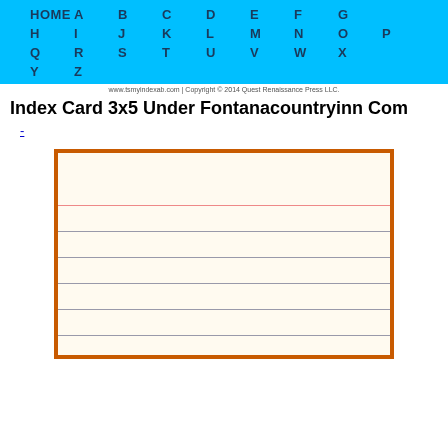HOME A B C D E F G H I J K L M N O P Q R S T U V W X Y Z
www.tsmyindexab.com | Copyright © 2014 Quest Renaissance Press LLC.
Index Card 3x5 Under Fontanacountryinn Com
-
[Figure (illustration): A blank 3x5 index card graphic with an orange border, a red horizontal line near the top, and multiple blue horizontal ruled lines below.]